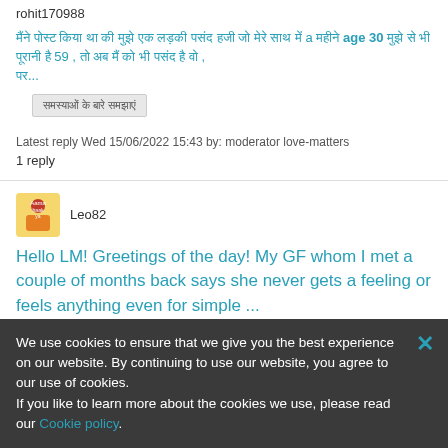rohit170988
मैंने पोस्ट किया था की मुझे एक लड़की पसंद हजी जो मेरे साथ में a महीने age 30 मुझे से भी पूरानी है 59 , तो अब मैं को भी पसंद है वो , पर...
समस्याओं के बारे समझाएं
Latest reply Wed 15/06/2022 15:43 by: moderator love-matters
1 reply
Leo82
Hello LM! Greetings of the day! My GF whom I met a couple of months back says she never gets a feeling or feels anything even for simple ...
Single
We use cookies to ensure that we give you the best experience on our website. By continuing to use our website, you agree to our use of cookies.
If you like to learn more about the cookies we use, please read our Cookie policy.